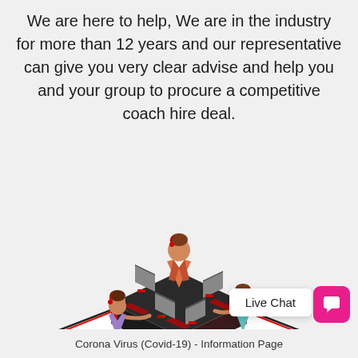We are here to help, We are in the industry for more than 12 years and our representative can give you very clear advise and help you and your group to procure a competitive coach hire deal.
[Figure (illustration): Isometric illustration of a call center with four agents wearing headsets, seated at a shared dark desk with red accents and computer monitors, on a white platform with red border lines and drop shadow.]
Live Chat
Corona Virus (Covid-19) - Information Page